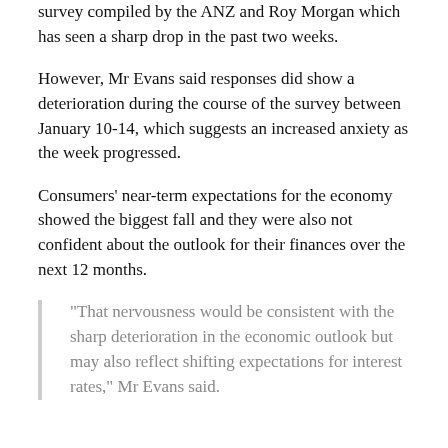survey compiled by the ANZ and Roy Morgan which has seen a sharp drop in the past two weeks.
However, Mr Evans said responses did show a deterioration during the course of the survey between January 10-14, which suggests an increased anxiety as the week progressed.
Consumers' near-term expectations for the economy showed the biggest fall and they were also not confident about the outlook for their finances over the next 12 months.
“That nervousness would be consistent with the sharp deterioration in the economic outlook but may also reflect shifting expectations for interest rates,” Mr Evans said.